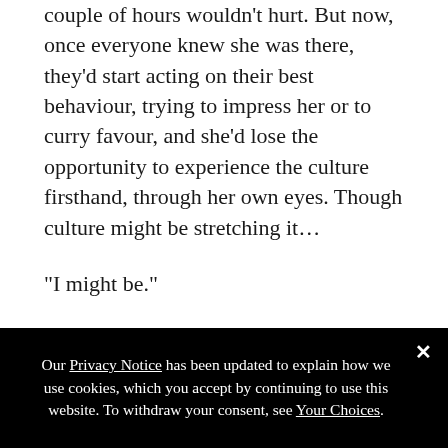couple of hours wouldn't hurt. But now, once everyone knew she was there, they'd start acting on their best behaviour, trying to impress her or to curry favour, and she'd lose the opportunity to experience the culture firsthand, through her own eyes. Though culture might be stretching it…
“I might be.”
“You are, though.”
“Yeah.”
The merchant looked down at the money in his palm, then clenchedhisfingersoverit asifitmightturn todust
Our Privacy Notice has been updated to explain how we use cookies, which you accept by continuing to use this website. To withdraw your consent, see Your Choices.